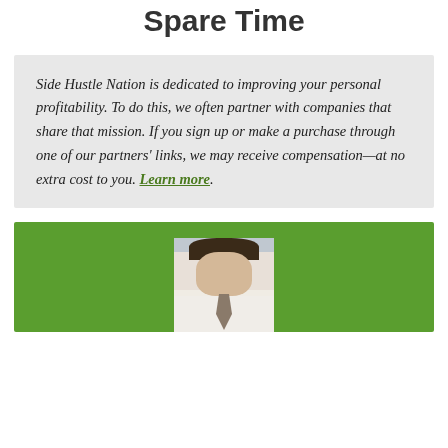Spare Time
Side Hustle Nation is dedicated to improving your personal profitability. To do this, we often partner with companies that share that mission. If you sign up or make a purchase through one of our partners' links, we may receive compensation—at no extra cost to you. Learn more.
[Figure (photo): Headshot of a man in a white shirt and tie against a light background, displayed on a green background panel.]